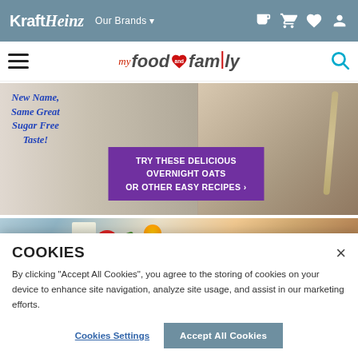KraftHeinz Our Brands
my food and family
[Figure (photo): Promotional banner for overnight oats with text 'New Name, Same Great Sugar Free Taste!' and a purple CTA button 'TRY THESE DELICIOUS OVERNIGHT OATS OR OTHER EASY RECIPES ›']
[Figure (photo): Food image showing crackers or flatbread topped with colorful vegetables including tomatoes and herbs on a blue surface]
COOKIES
By clicking "Accept All Cookies", you agree to the storing of cookies on your device to enhance site navigation, analyze site usage, and assist in our marketing efforts.
Cookies Settings
Accept All Cookies